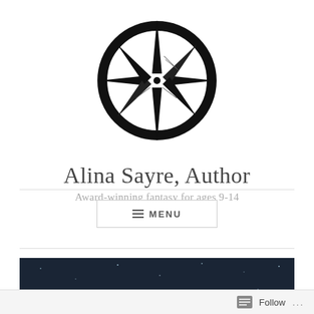[Figure (logo): Compass rose logo — black circle ring with eight-pointed star/wind-rose inside, bold black lines on white background]
Alina Sayre, Author
Award-winning fantasy for ages 9-14
≡ MENU
[Figure (photo): Dark blue/black starry night sky banner image with text: AWARD-WINNING FANTASY FOR AGES 9-14]
Follow ...